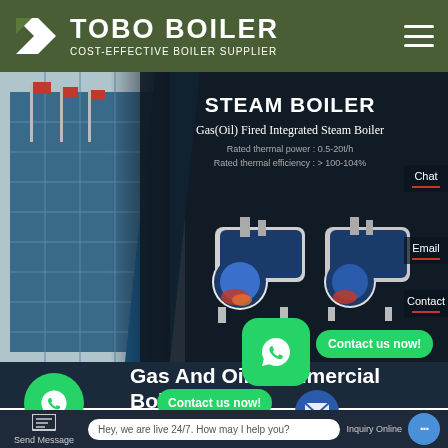TOBO BOILER — COST-EFFECTIVE BOILER SUPPLIER
[Figure (screenshot): Website hero banner showing a steam boiler product page. Left side shows a building with flags (blue glass facade). Right side on dark background shows text: STEAM BOILER, Gas(Oil) Fired Integrated Steam Boiler, Rated thermal power: 0.5-20t/h, Rated thermal efficiency: > 100-104%. Two industrial boiler 3D renderings are shown in the center.]
STEAM BOILER
Gas(Oil) Fired Integrated Steam Boiler
Rated thermal power : 0.5-20t/h
Rated thermal efficiency : > 100-104%
Chat
Email
Contact us now!
Contact
Gas And Oil Firedmercial Boilers Natural
Contact us now!
Hey, we are live 24/7. How may I help you?
Send Message
Inquiry Online